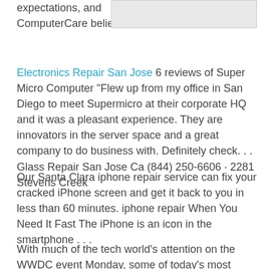expectations, and ComputerCare believes this . . .
[Figure (other): Gray placeholder image in upper right]
Electronics Repair San Jose 6 reviews of Super Micro Computer "Flew up from my office in San Diego to meet Supermicro at their corporate HQ and it was a pleasant experience. They are innovators in the server space and a great company to do business with. Definitely check. . . Glass Repair San Jose Ca (844) 250-6606 · 2281 Stevens Creek
Our Santa Clara iphone repair service can fix your cracked iPhone screen and get it back to you in less than 60 minutes. iphone repair When You Need It Fast The iPhone is an icon in the smartphone . . .
With much of the tech world’s attention on the WWDC event Monday, some of today’s most important Apple news wasn’t